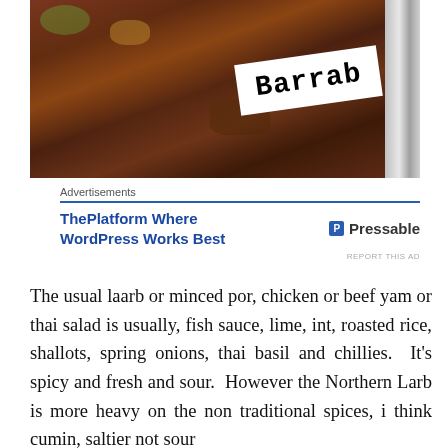[Figure (photo): A photo of Barrab food dish — minced meat mixture on a tray with a white label tag reading 'Barrab' in typewriter font, with a metal edge visible on the right]
[Figure (screenshot): Advertisement: 'ThePlatform Where WordPress Works Best' with Pressable logo]
The usual laarb or minced por, chicken or beef yam or thai salad is usually, fish sauce, lime, int, roasted rice, shallots, spring onions, thai basil and chillies.  It's spicy and fresh and sour.  However the Northern Larb is more heavy on the non traditional spices, i think cumin, saltier not sour